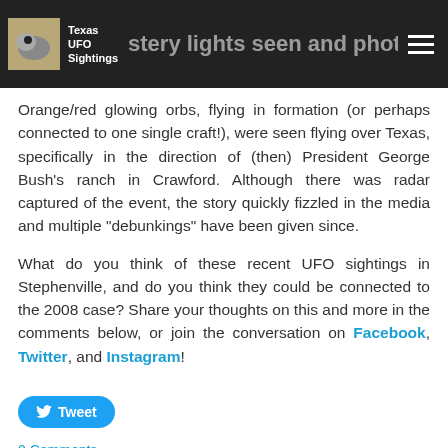Texas UFO Sightings — Mystery lights seen and photographed in Stephenville, Texas make news headlines
Orange/red glowing orbs, flying in formation (or perhaps connected to one single craft!), were seen flying over Texas, specifically in the direction of (then) President George Bush's ranch in Crawford. Although there was radar captured of the event, the story quickly fizzled in the media and multiple "debunkings" have been given since.
What do you think of these recent UFO sightings in Stephenville, and do you think they could be connected to the 2008 case? Share your thoughts on this and more in the comments below, or join the conversation on Facebook, Twitter, and Instagram!
[Figure (other): Tweet button with Twitter bird icon]
0 Comments